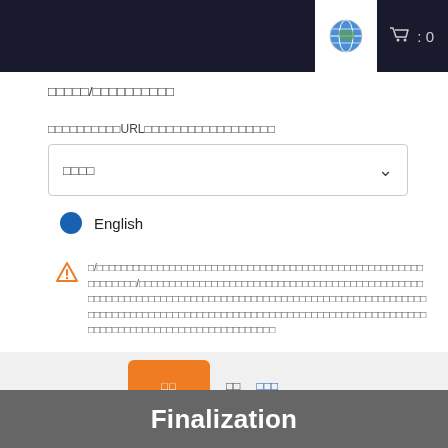Navigation bar with globe icon and cart : 0
□□□□□/□□□□□□□□□□
□□□□□□□□□□URL□□□□□□□□□□□□□□□□□□
□□□□ (dropdown)
● English
⚠ □/□□□□□□□□□□□□□□□□□□□□□□□□□□□□□□□□□□□□□□□□□□□□□□□□□□□□□□/□□□□□□□□□/□□□□□□□□□□□□□□□□□□□□□□/□□□□□□□□□□□□□□□□□□□□□□□□□□□□□□□□□□□□□□□□□
□□ button | □□ | □□□
Improved by AINBC Finalization